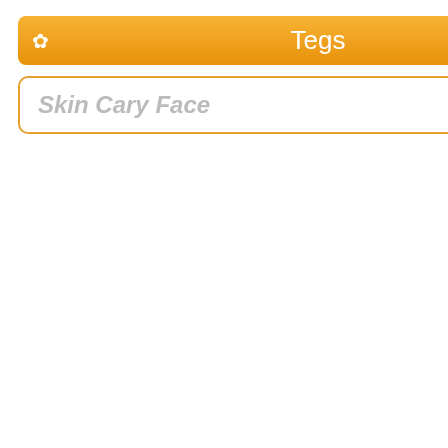Tegs
Skin Cary Face
[Figure (photo): Woman lying down with facial mask applied]
With care massage face im
Cleansin butter, a butter a
Resembling articles:
Anti-Aging Facials
Masks and face care to
Face care professiona
. . .
Read more -->
Facial skin c
Very dry facial skin is prope egg. A person want be grea heartwarming water, you ca
For dry and ordinary skin m and natural milk to egg yolk too runny. The cover is use
In rule skin do a similar cov amount of olive butter and